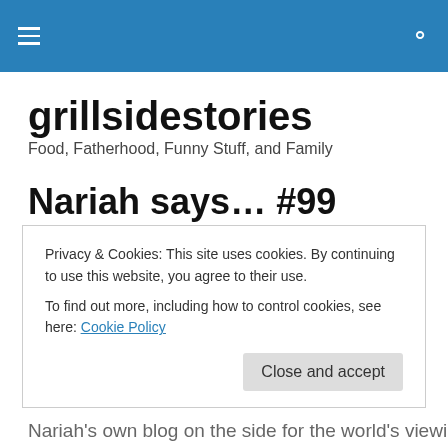grillsidestories — hamburger menu and search icon
grillsidestories
Food, Fatherhood, Funny Stuff, and Family
Nariah says… #99
★★★★★ ℹ 2 Votes
First off, let me apologize for the delay in posts. I have
Privacy & Cookies: This site uses cookies. By continuing to use this website, you agree to their use.
To find out more, including how to control cookies, see here: Cookie Policy
Nariah's own blog on the side for the world's viewing